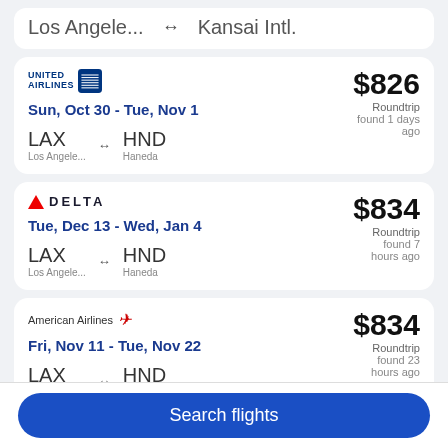Los Angele...  ↔  Kansai Intl.
United Airlines — Sun, Oct 30 - Tue, Nov 1 — LAX ↔ HND (Los Angele... / Haneda) — $826 Roundtrip found 1 days ago
Delta — Tue, Dec 13 - Wed, Jan 4 — LAX ↔ HND (Los Angele... / Haneda) — $834 Roundtrip found 7 hours ago
American Airlines — Fri, Nov 11 - Tue, Nov 22 — LAX ↔ HND (Los Angele... / Haneda) — $834 Roundtrip found 23 hours ago
Search flights